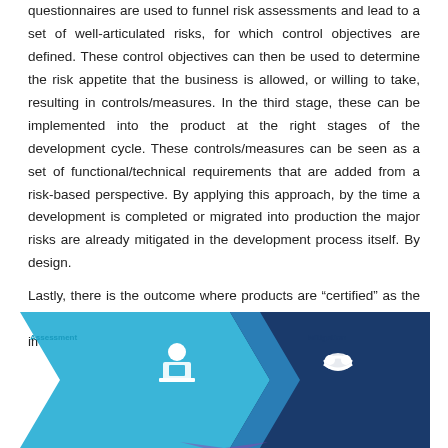questionnaires are used to funnel risk assessments and lead to a set of well-articulated risks, for which control objectives are defined. These control objectives can then be used to determine the risk appetite that the business is allowed, or willing to take, resulting in controls/measures. In the third stage, these can be implemented into the product at the right stages of the development cycle. These controls/measures can be seen as a set of functional/technical requirements that are added from a risk-based perspective. By applying this approach, by the time a development is completed or migrated into production the major risks are already mitigated in the development process itself. By design.
Lastly, there is the outcome where products are “certified” as the assessments, risks, the associated measures and the implementation can be transparently monitored.
[Figure (infographic): An infographic showing two stages: Assessment (left, light blue) with a person at a desk icon, and Mitigation (right, dark blue/navy) with a handshake icon. Assessment: Standardized approach to assessing the risk-based business impact on a higher abstraction layer and down to deep level. Mitigation: Assessment output is used by the policy engine to determine the set of risks involved. These risks are then linked to guidance, mitigating measures and controls that can be applied throughout the development process. The shapes form a chevron/funnel pointing downward.]